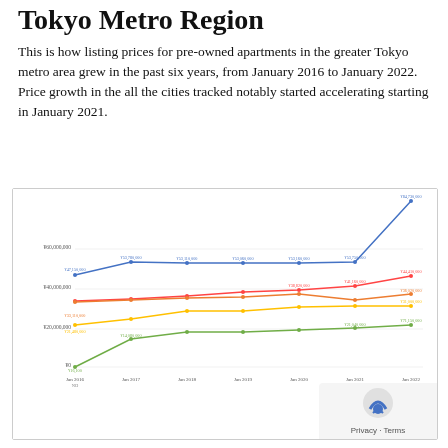Tokyo Metro Region
This is how listing prices for pre-owned apartments in the greater Tokyo metro area grew in the past six years, from January 2016 to January 2022. Price growth in the all the cities tracked notably started accelerating starting in January 2021.
[Figure (line-chart): Average Listing Price for a 70-sqm Pre-Owned Apartment in the Tokyo 23 Wards, Yokohama City, Saitama City, Chiba City and Tokyo Capital Region by Year, Source: Tokyo Kantei]